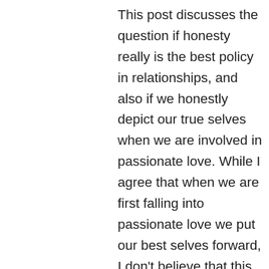This post discusses the question if honesty really is the best policy in relationships, and also if we honestly depict our true selves when we are involved in passionate love. While I agree that when we are first falling into passionate love we put our best selves forward, I don't believe that this self is a figment of our imagination or an idealized idea of who we want to portray. I believe that we simply are showing some of our true selves, the part of our selves we admire, and what's so wrong with showing the person you love the aspect of yourself you admire? I do agree that we can't always be the best part of ourselves as no one is perfect, however, it is the good parts of ourselves that overshadow our down falls. When someone truly loves someone